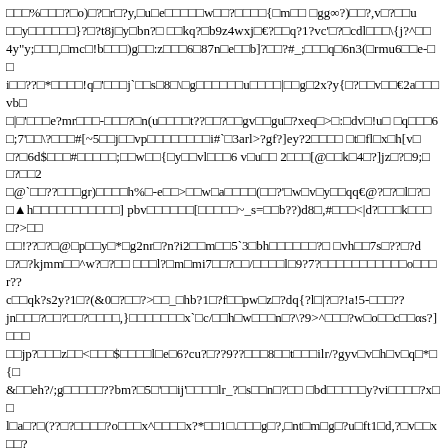□□□%□□□?□o)□?□r□?y,□u□e□□□□□w□□?□□□□{□m□□ □gg∞?)□□?,v□?□□u
□□y□□□□□□}?□?t8j□y□bn?□ □□kq?□b9z4wxj□€?□□q?1?vc'□?□cdl□□□\{j?^□□
4y"y;□□□,□mc□!b□□□)g□□:z□□□6□87n□e□□b]?□□?#_;□□□q□6n3(□rmu6□□e-□□
i□□??□*□□□□!q□'□□□j`□□s□8□\□g□□□□□□u□□□□|□□g□2x?y{□?□□v□□€2a□□□vb□
□|□'□□□e?mr□□□-□□□?□n(u□□□□t??□□?□□gv□□gu□?xeq□>□:□dv□!u□ □q□□□6
□;7'□□\?□□□#[~5□□j□□vp□□□□□□□□i#`□3arl>?gf?]ey?2□□□□ □t□fl□x□h[v□
□?□6d$□□□#□□□□□;□□w□□{□y□□vl□□□6 v□u□□ 2□□□[@□□k□4□?]jz□?□9;□□?□□2
□@`□□??□□□gr)□□□□h%□-e□□>□□w□a□□□□(□□?'□w□v□y□□qq€@?□?□l□?□
□▲h□□□□□□□□□□□] pbv□□□□□□[□□□□□~_s=□□b??)d8□,#□□□<|d?□□□k□□□□?>□□
□□!??□?□@□p□□y□*□g2nr□?n?i2□□m□□5`3□bh□□□□□□?□ □vh□□7s□??□?d
□?□?kjmm□□^w?□?□□ □□□l?□m□mi7□□?□□/□□□□l□9?7?□□□□□□□□□□□o□□□r??
c□□qk?s2y?1□?(& 0□?□□?>□□_□hb?1□?f□□pw□z□?dq{?l□|?□?!a!5-□□□??
jn□□□?□□?□□?□□□□,}□□□□□□□x`□c/□□h□w□□□n□?\?9>^□□□?w□o□□c□□αs?]□□□
□□jp?□□□z□□<□□□$□□□□l□e□6?cu?□??9??□□□8□□t□□□ilr/?gyv□v□h□v□q□*□{□
&□□eh?/;g□□□□□??bm?□5□'□□ij'□□□□lr_?□s□□n□?□□ □bd□□□□□y?vi□□□□?x□□
l□a□?□(??□?□□□□?o□□□x^□□□□x?*□□1□.□□□g□?,□nt□m□g□?u□ft1□d,?□v□□x□□?
u□2d□□?□□□$□p□□'?□□□□□□□□□□□2%kh?□□it□□#□p□l|?□□□□>>□□o□??□□l?<□
□□f?□□□[?v?□□3f□q□g□□ň?□?we]?□□?n□□f7□7h □u?w□??67□j□□iv□?□!□"□□
5□□□□5□□□?e□_□□?b□□o□□~□□?□□ $□x*?m?□d□t?□;□□□k□□%□_e□?icy □□1□□
□?□t??b□□□[□□{c?0□s*□,@□\?□?h□'□2?□□n□□□□#d□□(□□]□y□yl w?j□f6□□u□□□
[t2□□?26□(?d□□□□???□□?/pt□sg?r□□<□"<|eh□??□□x□q`<□□□□r□?$□d□j□n□-
b:□h□□h*□i□□x□□?i?□6□□□v(□□s0□□*i□m□□□□□□}□□□□p□f_iw□\□□□□□k□xm□□
□*□□7□□m?□□□□□□u□ □?g□□□y□□? □#□o□□f□f□□%s0□□□d€□b?- z□i"?□?p□□□?
□;□□m,g□/□??□r□□?□ ?4□a?□□&jя□□?%□i□□□□□j□□□9&□□f□9□<\|>□□<□ □□□cs□□
□□□*c>{□a?;6#<□□?□□□*□_k□?□□\□#□3?4j&□h□rk□z□□□d□k□?□□□□□□□□□□□□\□